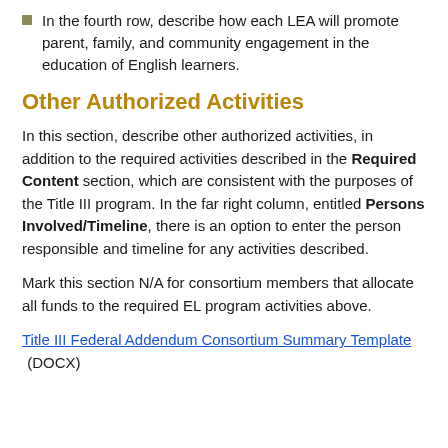In the fourth row, describe how each LEA will promote parent, family, and community engagement in the education of English learners.
Other Authorized Activities
In this section, describe other authorized activities, in addition to the required activities described in the Required Content section, which are consistent with the purposes of the Title III program. In the far right column, entitled Persons Involved/Timeline, there is an option to enter the person responsible and timeline for any activities described.
Mark this section N/A for consortium members that allocate all funds to the required EL program activities above.
Title III Federal Addendum Consortium Summary Template (DOCX)